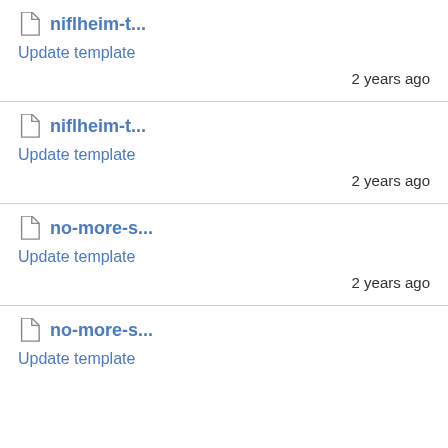niflheim-t... Update template 2 years ago
niflheim-t... Update template 2 years ago
no-more-s... Update template 2 years ago
no-more-s... Update template